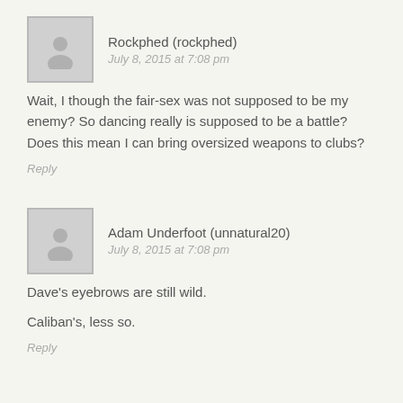Rockphed (rockphed)
July 8, 2015 at 7:08 pm
Wait, I though the fair-sex was not supposed to be my enemy?  So dancing really is supposed to be a battle?  Does this mean I can bring oversized weapons to clubs?
Reply
Adam Underfoot (unnatural20)
July 8, 2015 at 7:08 pm
Dave's eyebrows are still wild.
Caliban's, less so.
Reply